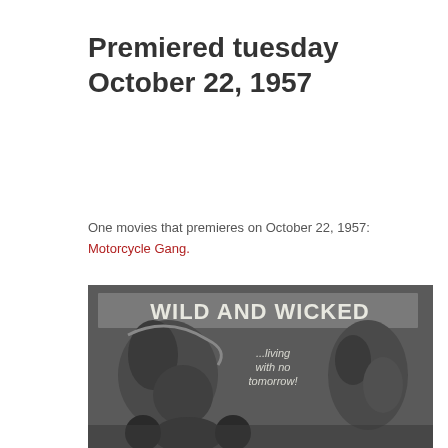Premiered tuesday October 22, 1957
One movies that premieres on October 22, 1957:
Motorcycle Gang.
[Figure (photo): Black and white movie poster for 'Motorcycle Gang' (1957) showing the text 'WILD AND WICKED ...living with no tomorrow!' with dramatic illustrated scenes of motorcycle gang members fighting and a couple embracing in fear.]